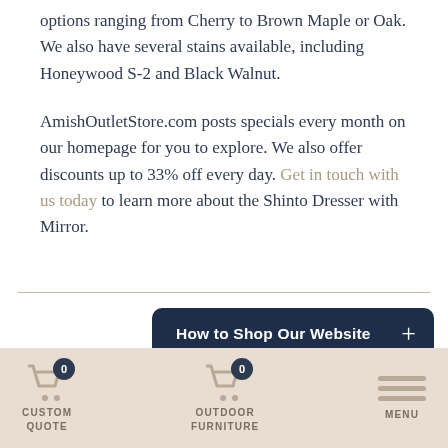options ranging from Cherry to Brown Maple or Oak. We also have several stains available, including Honeywood S-2 and Black Walnut.
AmishOutletStore.com posts specials every month on our homepage for you to explore. We also offer discounts up to 33% off every day. Get in touch with us today to learn more about the Shinto Dresser with Mirror.
How to Shop Our Website +
CUSTOM QUOTE
OUTDOOR FURNITURE
MENU